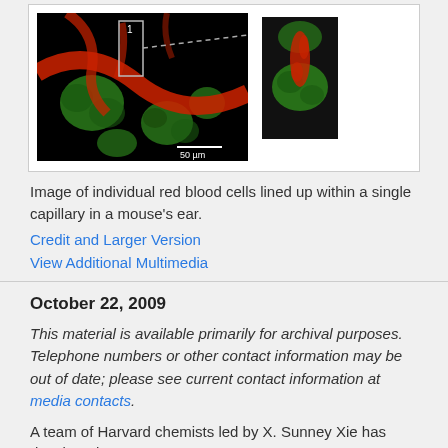[Figure (photo): Fluorescence microscopy image of individual red blood cells lined up within a single capillary in a mouse's ear. Main image shows red and green fluorescent labeling with a scale bar of 50 µm. An inset shows a zoomed region highlighted by a dashed line.]
Image of individual red blood cells lined up within a single capillary in a mouse's ear.
Credit and Larger Version
View Additional Multimedia
October 22, 2009
This material is available primarily for archival purposes. Telephone numbers or other contact information may be out of date; please see current contact information at media contacts.
A team of Harvard chemists led by X. Sunney Xie has developed